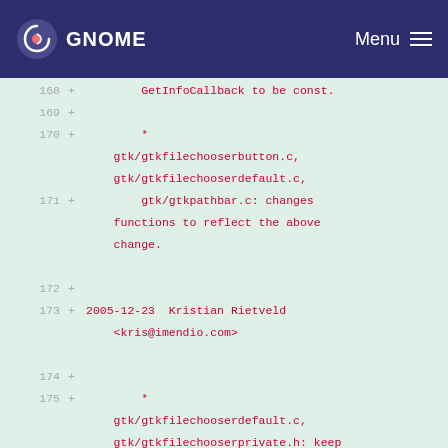GNOME Menu
168 +        GetInfoCallback to be const.
169 +
170 +        *
           gtk/gtkfilechooserbutton.c,
           gtk/gtkfilechooserdefault.c,
171 +        gtk/gtkpathbar.c: changes
           functions to reflect the above
           change.
172 +
173 + 2005-12-23  Kristian Rietveld
           <kris@imendio.com>
174 +
175 +        *
           gtk/gtkfilechooserdefault.c,
           gtk/gtkfilechooserprivate.h: keep
           track
176 +        of handles, cancel all
           pending operations on dispose.
177 +
178 + 2005-12-23  Kristian Rietveld